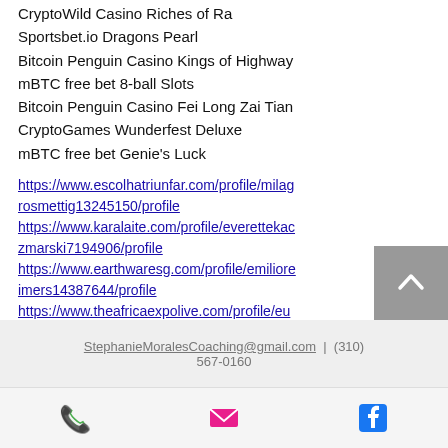CryptoWild Casino Riches of Ra
Sportsbet.io Dragons Pearl
Bitcoin Penguin Casino Kings of Highway
mBTC free bet 8-ball Slots
Bitcoin Penguin Casino Fei Long Zai Tian
CryptoGames Wunderfest Deluxe
mBTC free bet Genie's Luck
https://www.escolhatriunfar.com/profile/milagrorosmettig13245150/profile https://www.karalaite.com/profile/everettekaczmarski7194906/profile https://www.earthwaresg.com/profile/emilioreimers14387644/profile https://www.theafricaexpolive.com/profile/eunastella7725244/profile
StephanieMoralesCoaching@gmail.com | (310) 567-0160